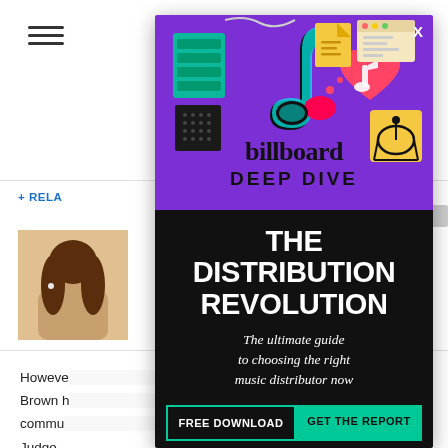[Figure (screenshot): Mobile web article page background with hamburger menu, horizontal dividers, related content link, article thumbnail, and partial article text]
[Figure (infographic): Billboard Deep Dive ad overlay with purple top section showing social media icons and TikTok logo, Billboard logo, 'DEEP DIVE' text, black section with 'THE DISTRIBUTION REVOLUTION' headline, subtitle 'The ultimate guide to choosing the right music distributor now', FREE DOWNLOAD and GET THE REPORT buttons, yellow strip with 'JUST $45 RIGHT NOW']